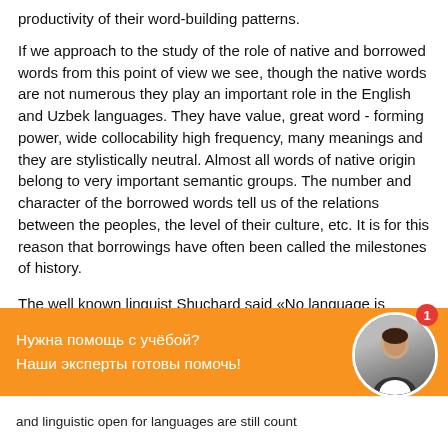productivity of their word-building patterns.
If we approach to the study of the role of native and borrowed words from this point of view we see, though the native words are not numerous they play an important role in the English and Uzbek languages. They have value, great word - forming power, wide collocability high frequency, many meanings and they are stylistically neutral. Almost all words of native origin belong to very important semantic groups. The number and character of the borrowed words tell us of the relations between the peoples, the level of their culture, etc. It is for this reason that borrowings have often been called the milestones of history.
The well known linguist Shuchard said «No language is entirely pure», that all the languages are mixed.
[Figure (other): Orange promotional banner with text in Russian: 'Нужна помощь с учёбой? Наши эксперты готовы помочь!' and a circular avatar photo of a woman in professional attire with a red notification badge showing '1'.]
and linguistic open for languages are still count